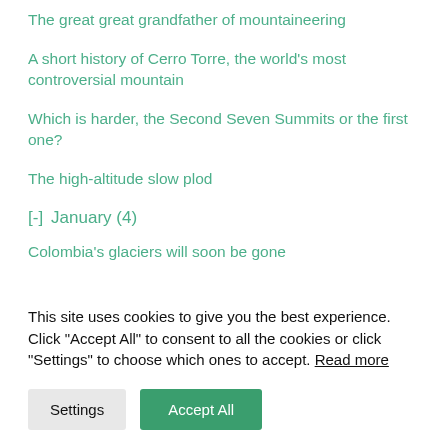The great great grandfather of mountaineering
A short history of Cerro Torre, the world's most controversial mountain
Which is harder, the Second Seven Summits or the first one?
The high-altitude slow plod
[-]  January (4)
Colombia's glaciers will soon be gone
Two strange plants of the Colombian paramo
This site uses cookies to give you the best experience. Click "Accept All" to consent to all the cookies or click "Settings" to choose which ones to accept. Read more